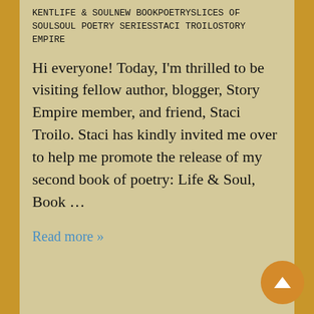KENTLIFE & SOULNEW BOOKPOETRYSLICES OF SOULSOUL POETRY SERIESSTACI TROILOSTORY EMPIRE
Hi everyone! Today, I'm thrilled to be visiting fellow author, blogger, Story Empire member, and friend, Staci Troilo. Staci has kindly invited me over to help me promote the release of my second book of poetry: Life & Soul, Book …
Read more »
#NewBook: Harmony is on tour with Beem Weeks @BeemWeeks for the